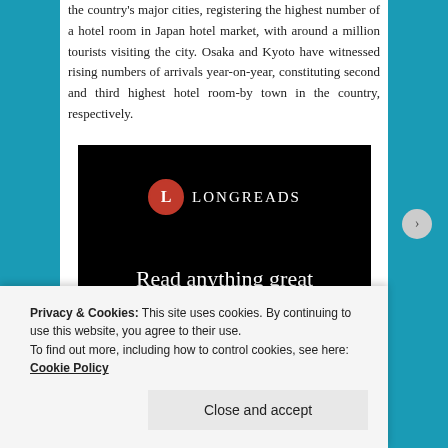the country's major cities, registering the highest number of a hotel room in Japan hotel market, with around a million tourists visiting the city. Osaka and Kyoto have witnessed rising numbers of arrivals year-on-year, constituting second and third highest hotel room-by town in the country, respectively.
[Figure (other): Longreads advertisement banner with dark background. Shows the Longreads logo (red circle with 'L' followed by 'LONGREADS' in white caps), tagline 'Read anything great lately?' in white serif font, and a red 'Start reading' button.]
Privacy & Cookies: This site uses cookies. By continuing to use this website, you agree to their use. To find out more, including how to control cookies, see here: Cookie Policy
Close and accept